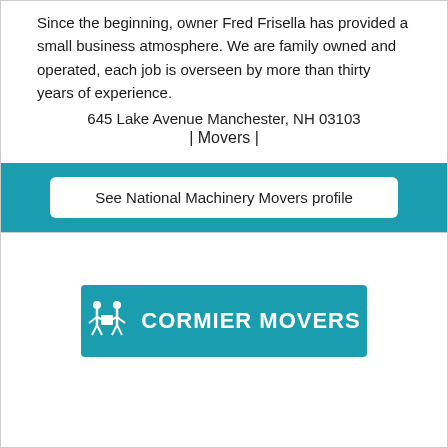Since the beginning, owner Fred Frisella has provided a small business atmosphere. We are family owned and operated, each job is overseen by more than thirty years of experience.
645 Lake Avenue Manchester, NH 03103
| Movers |
See National Machinery Movers profile
[Figure (logo): Cormier Movers logo: teal rectangle with two white figure icons carrying a box and the text CORMIER MOVERS in white bold letters]